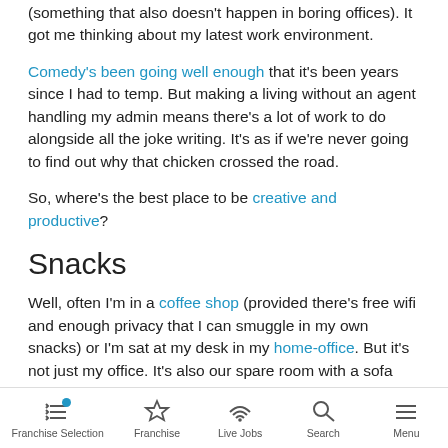(something that also doesn't happen in boring offices). It got me thinking about my latest work environment.
Comedy's been going well enough that it's been years since I had to temp. But making a living without an agent handling my admin means there's a lot of work to do alongside all the joke writing. It's as if we're never going to find out why that chicken crossed the road.
So, where's the best place to be creative and productive?
Snacks
Well, often I'm in a coffee shop (provided there's free wifi and enough privacy that I can smuggle in my own snacks) or I'm sat at my desk in my home-office. But it's not just my office. It's also our spare room with a sofa that opens into a double bed; a snug/den with a television
Franchise Selection | Franchise | Live Jobs | Search | Menu